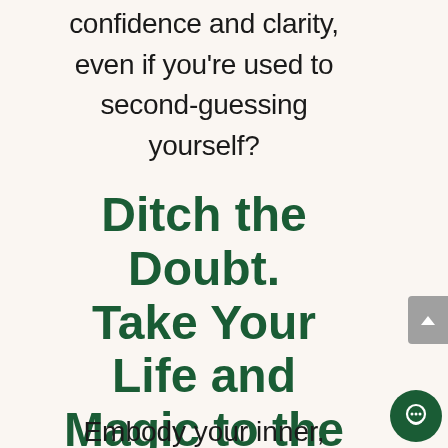confidence and clarity, even if you're used to second-guessing yourself?
Ditch the Doubt. Take Your Life and Magic to the Next Level
Embody your inner,